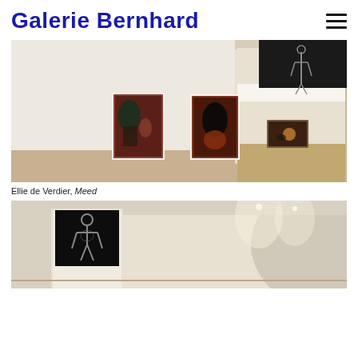Galerie Bernhard
[Figure (photo): Gallery installation view showing two paintings on a white wall: left painting with dark green and red tones, right painting with dark black and orange tones. Through a doorway on the right, another painting is visible on a lit wall. A black artwork is partially visible in the upper right corner.]
Ellie de Verdier, Meed
[Figure (photo): Gallery installation view showing a dark black painting of a skeleton figure on a wall, lit from above. The room has white walls and recessed ceiling lights, with a curved architectural element on the right.]